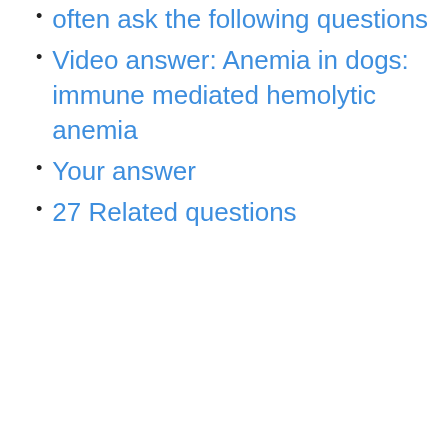often ask the following questions
Video answer: Anemia in dogs: immune mediated hemolytic anemia
Your answer
27 Related questions